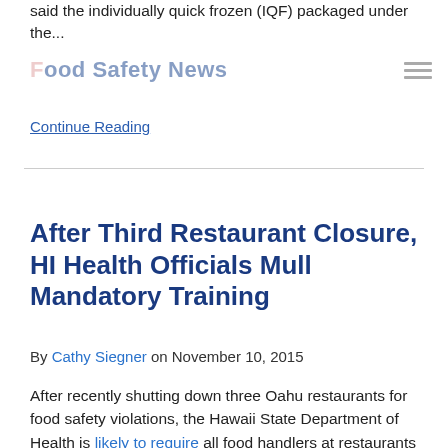said the individually quick frozen (IQF) packaged under the...
Food Safety News
Continue Reading
After Third Restaurant Closure, HI Health Officials Mull Mandatory Training
By Cathy Siegner on November 10, 2015
After recently shutting down three Oahu restaurants for food safety violations, the Hawaii State Department of Health is likely to require all food handlers at restaurants and other food establishments in the Aloha State to... Continue Reading